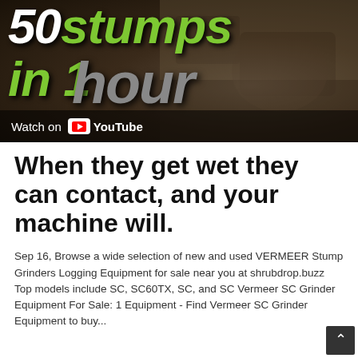[Figure (screenshot): YouTube video thumbnail showing text '50 stumps in 1 hour' with green and grey stylized text on dark earthy background, with 'Watch on YouTube' bar at bottom]
When they get wet they can contact, and your machine will.
Sep 16, Browse a wide selection of new and used VERMEER Stump Grinders Logging Equipment for sale near you at shrubdrop.buzz Top models include SC, SC60TX, SC, and SC Vermeer SC Grinder Equipment For Sale: 1 Equipment - Find Vermeer SC Grinder Equipment to buy...